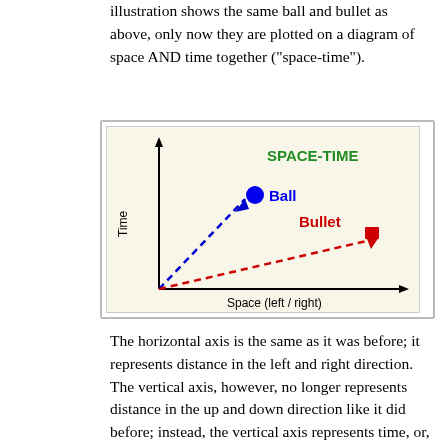illustration shows the same ball and bullet as above, only now they are plotted on a diagram of space AND time together ("space-time").
[Figure (schematic): Space-time diagram showing two objects: a Ball (blue dashed arrow going steeply up-right) and a Bullet (red dashed arrow going shallowly up-right). Vertical axis labeled 'Time', horizontal axis labeled 'Space (left / right)'. Title 'SPACE-TIME' in green bold text top right.]
The horizontal axis is the same as it was before; it represents distance in the left and right direction. The vertical axis, however, no longer represents distance in the up and down direction like it did before; instead, the vertical axis represents time, or, specifically, how much time has elapsed since the ball and bullet were released. Whereas the first diagram was a picture of something you could imagine seeing with your eyes